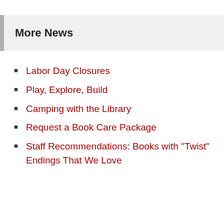More News
Labor Day Closures
Play, Explore, Build
Camping with the Library
Request a Book Care Package
Staff Recommendations: Books with "Twist" Endings That We Love